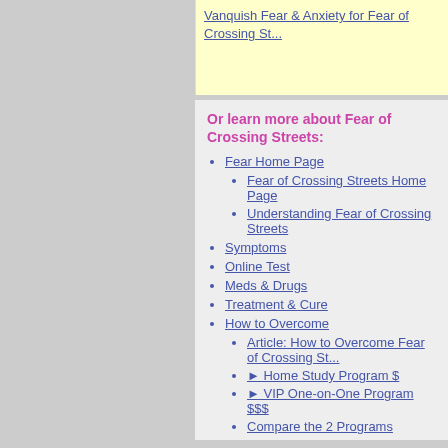Vanquish Fear & Anxiety for Fear of Crossing Streets
Or learn more about Fear of Crossing Streets:
Fear Home Page
Fear of Crossing Streets Home Page
Understanding Fear of Crossing Streets
Symptoms
Online Test
Meds & Drugs
Treatment & Cure
How to Overcome
Article: How to Overcome Fear of Crossing Streets
► Home Study Program $
► VIP One-on-One Program $$$
Compare the 2 Programs
Contact Us